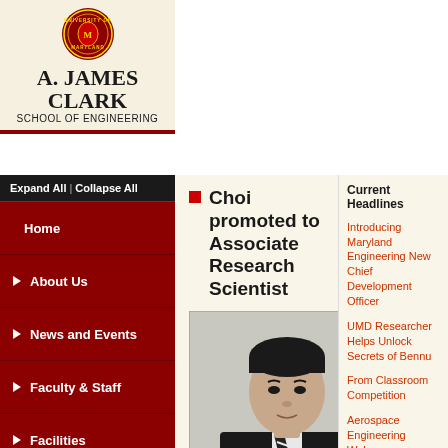[Figure (logo): University of Maryland A. James Clark School of Engineering logo with circular crest]
[Figure (logo): CORE Composites Research header banner with airplane graphic on red grid background, text: DEPARTMENT... and Compos...]
A. JAMES CLARK
SCHOOL OF ENGINEERING
Expand All | Collapse All
Home
About Us
News and Events
Faculty & Staff
Facilities
Resources
Alumni
Contact Us
Aerospace Home
Clark School
Choi promoted to Associate Research Scientist
[Figure (photo): Portrait photo of Associate Research Scientist Young-Tai Choi in dark suit and striped tie]
Associate Research Scientist Young-Tai Choi.
Congratulations to Young-Tai Choi who was promoted to Associate Research Professor on May 2nd, 2013.
Current Headlines
Introducing Maryland Engineering New Chief Development Officer
UMD Researcher Helps Unlock Secrets of Bennu
From Classroom Competition
Aerospace Engineering Welcomes Umberto Saetti, Assistant